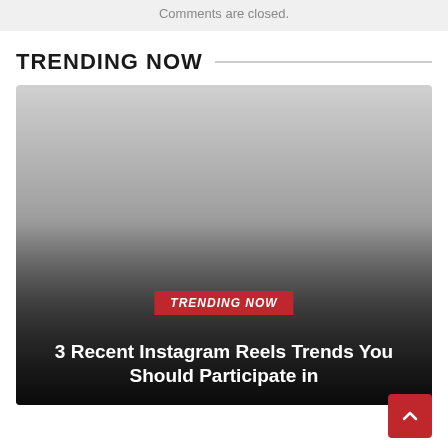Comments are closed.
TRENDING NOW
[Figure (photo): Large card image with gradient overlay showing TRENDING NOW badge and article title '3 Recent Instagram Reels Trends You Should Participate in']
TRENDING NOW
3 Recent Instagram Reels Trends You Should Participate in